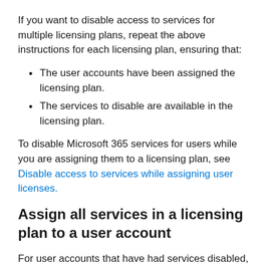If you want to disable access to services for multiple licensing plans, repeat the above instructions for each licensing plan, ensuring that:
The user accounts have been assigned the licensing plan.
The services to disable are available in the licensing plan.
To disable Microsoft 365 services for users while you are assigning them to a licensing plan, see Disable access to services while assigning user licenses.
Assign all services in a licensing plan to a user account
For user accounts that have had services disabled, you can enable all services for a specific licensing plan with these